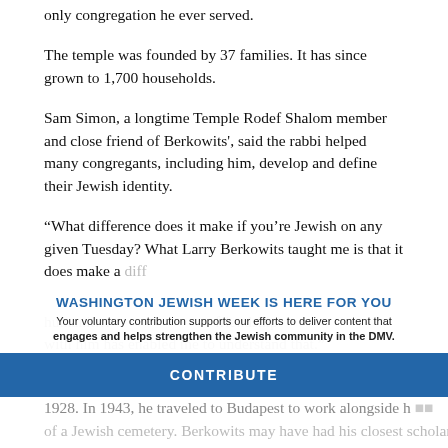only congregation he ever served.
The temple was founded by 37 families. It has since grown to 1,700 households.
Sam Simon, a longtime Temple Rodef Shalom member and close friend of Berkowits', said the rabbi helped many congregants, including him, develop and define their Jewish identity.
“What difference does it make if you’re Jewish on any given Tuesday? What Larry Berkowits taught me is that it does make a diff… humanit… with him has enabled me to understand that.”
WASHINGTON JEWISH WEEK IS HERE FOR YOU
Your voluntary contribution supports our efforts to deliver content that engages and helps strengthen the Jewish community in the DMV.
CONTRIBUTE
Laszlo Berkowits was born in Derecske, a village in Hungary, in 1928. In 1943, he traveled to Budapest to work alongside h… of a Jewish cemetery. Berkowits may have had his closest scholar…